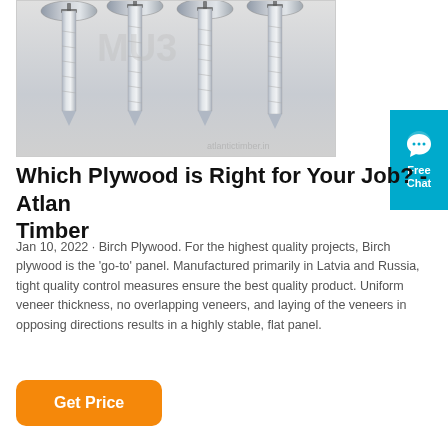[Figure (photo): Photo of four flat-head metal screws with Phillips heads arranged upright on a light gray surface, with a faint watermark text overlay.]
Which Plywood is Right for Your Job? - Atlantic Timber
Jan 10, 2022 · Birch Plywood. For the highest quality projects, Birch plywood is the 'go-to' panel. Manufactured primarily in Latvia and Russia, tight quality control measures ensure the best quality product. Uniform veneer thickness, no overlapping veneers, and laying of the veneers in opposing directions results in a highly stable, flat panel.
Get Price